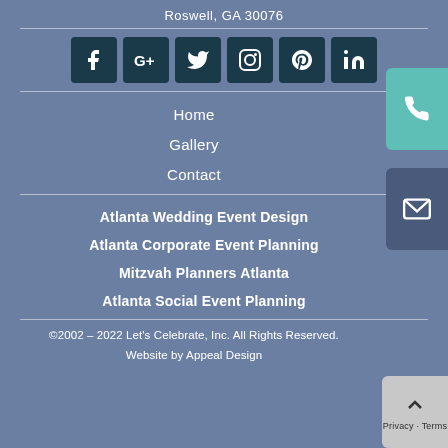Roswell, GA 30076
[Figure (infographic): Row of 6 social media icon buttons: Facebook, Google+, Twitter, Instagram, Pinterest, LinkedIn — dark teal square buttons with white icons]
Home
Gallery
Contact
Atlanta Wedding Event Design
Atlanta Corporate Event Planning
Mitzvah Planners Atlanta
Atlanta Social Event Planning
©2002 – 2022 Let's Celebrate, Inc. All Rights Reserved. Website by Appeal Design